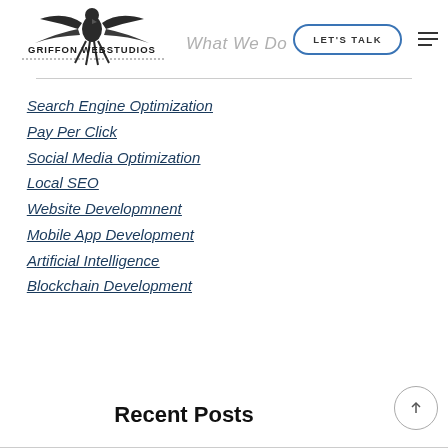[Figure (logo): Griffon Webstudios logo with eagle and text]
What We Do
LET'S TALK
Search Engine Optimization
Pay Per Click
Social Media Optimization
Local SEO
Website Developmnent
Mobile App Development
Artificial Intelligence
Blockchain Development
Recent Posts